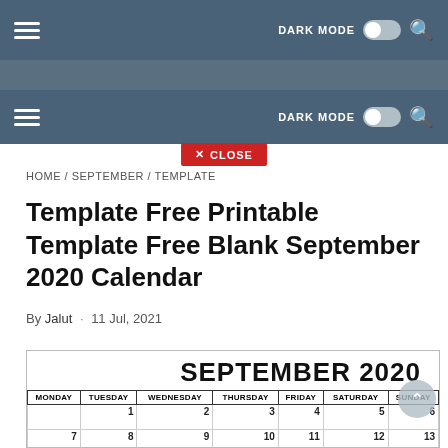[Figure (screenshot): Website navigation bar (top, partial) with hamburger menu, DARK MODE toggle, and search icon on a steel-blue background]
[Figure (screenshot): Grey band with blurred/partially visible logo text]
[Figure (screenshot): Second full navigation bar with hamburger menu, DARK MODE toggle, and search icon on steel-blue background]
[Figure (screenshot): Red CLOSE button with X]
HOME / SEPTEMBER / TEMPLATE
Template Free Printable Template Free Blank September 2020 Calendar
By Jalut · 11 Jul, 2021
[Figure (other): Partial calendar preview showing SEPTEMBER 2020 header with days of the week (MONDAY through SUNDAY) and first two rows of dates 1-13]